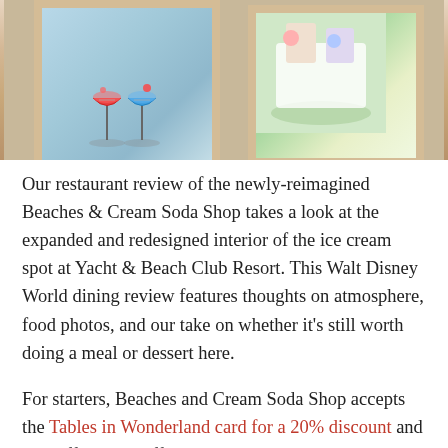[Figure (photo): Two framed artworks hanging on a wall — the left frame shows an illustration of cocktail glasses with colorful drinks on a light blue background, the right frame shows an illustration of characters on a green background. Both frames are cream/beige colored.]
Our restaurant review of the newly-reimagined Beaches & Cream Soda Shop takes a look at the expanded and redesigned interior of the ice cream spot at Yacht & Beach Club Resort. This Walt Disney World dining review features thoughts on atmosphere, food photos, and our take on whether it's still worth doing a meal or dessert here.
For starters, Beaches and Cream Soda Shop accepts the Tables in Wonderland card for a 20% discount and also offers 10% off discounts to Annual Passholders and Disney Vacation Club members. Normally, it would also participate in the Disney Dining Plan as a one-credit table service restaurant but that has been temporarily